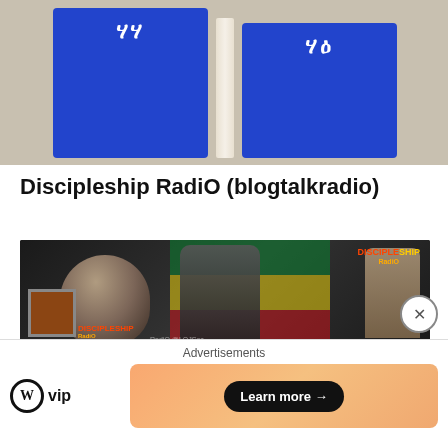[Figure (photo): Two blue books/booklets with Amharic script text on covers, resting against a sandy/concrete textured wall background]
Discipleship RadiO (blogtalkradio)
[Figure (photo): Discipleship Radio banner image featuring historical figures, a lion, and the Ethiopian flag colors with the DiscipleShip Radio logo in upper right corner]
Lion of Judah Society, Inc | Ras
[Figure (other): Advertisement overlay: WordPress VIP logo on left with a 'Learn more' button on right, on peach/orange gradient background with 'Advertisements' label and close button]